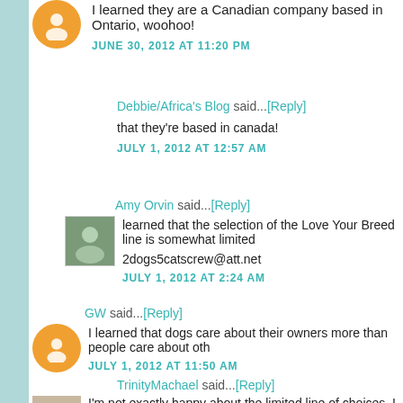I learned they are a Canadian company based in Ontario, woohoo!
JUNE 30, 2012 AT 11:20 PM
Debbie/Africa's Blog said...[Reply]
that they're based in canada!
JULY 1, 2012 AT 12:57 AM
Amy Orvin said...[Reply]
learned that the selection of the Love Your Breed line is somewhat limited
2dogs5catscrew@att.net
JULY 1, 2012 AT 2:24 AM
GW said...[Reply]
I learned that dogs care about their owners more than people care about oth
JULY 1, 2012 AT 11:50 AM
TrinityMachael said...[Reply]
I'm not exactly happy about the limited line of choices. I would love to hav